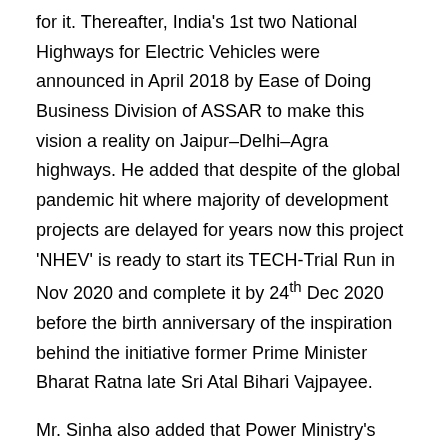for it. Thereafter, India's 1st two National Highways for Electric Vehicles were announced in April 2018 by Ease of Doing Business Division of ASSAR to make this vision a reality on Jaipur–Delhi–Agra highways. He added that despite of the global pandemic hit where majority of development projects are delayed for years now this project 'NHEV' is ready to start its TECH-Trial Run in Nov 2020 and complete it by 24th Dec 2020 before the birth anniversary of the inspiration behind the initiative former Prime Minister Bharat Ratna late Sri Atal Bihari Vajpayee.
Mr. Sinha also added that Power Ministry's 2018 relaxation of minimizing norms for setting up charging stations was real ease of doing business and recent go-ahead to sale electric vehicles and batteries separately in year 2020 helped a lot to made this India's first e-highways more viable and practical for operators. He said that 30 Minutes, 30% Percent and 3